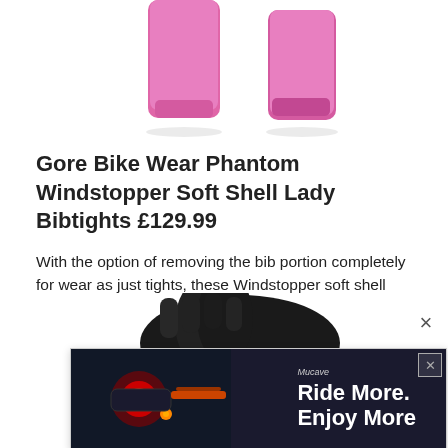[Figure (photo): Pink cycling bibtights product photo showing two legs in pink Windstopper soft shell fabric against white background]
Gore Bike Wear Phantom Windstopper Soft Shell Lady Bibtights £129.99
With the option of removing the bib portion completely for wear as just tights, these Windstopper soft shell bibs are actually pretty versatile anyway. Available in a variety of black and colour accent combos they are a bit cheerier than the norm as well.
www.goreapparel.co.uk/bike
[Figure (photo): Black cycling gloves product photo showing two gloves against white background, partially obscured by advertisement popup]
[Figure (screenshot): Advertisement popup overlay showing red bike light on dark background with text 'Ride More. Enjoy More' and Mucave brand name, with X close buttons]